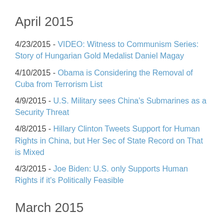April 2015
4/23/2015 - VIDEO: Witness to Communism Series: Story of Hungarian Gold Medalist Daniel Magay
4/10/2015 - Obama is Considering the Removal of Cuba from Terrorism List
4/9/2015 - U.S. Military sees China's Submarines as a Security Threat
4/8/2015 - Hillary Clinton Tweets Support for Human Rights in China, but Her Sec of State Record on That is Mixed
4/3/2015 - Joe Biden: U.S. only Supports Human Rights if it's Politically Feasible
March 2015
3/31/2015 - Obama's Cuba Reset doesn't Sit Well